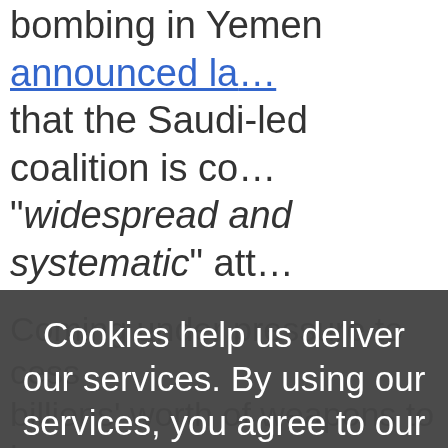bombing in Yemen announced la... that the Saudi-led coalition is co... "widespread and systematic" att...
Cookies help us deliver our services. By using our services, you agree to our use of cookies. Learn more
OK